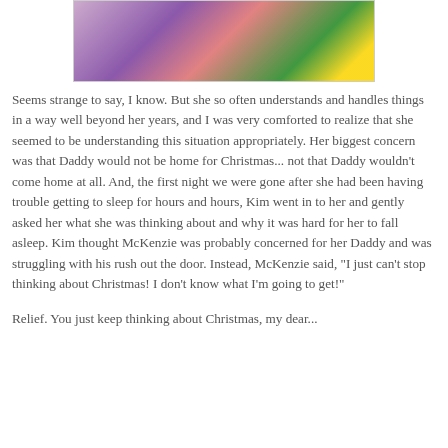[Figure (photo): Partial photo of a child in a purple dress near a decorated Christmas tree with colorful gifts and lights.]
Seems strange to say, I know.  But she so often understands and handles things in a way well beyond her years, and I was very comforted to realize that she seemed to be understanding this situation appropriately.  Her biggest concern was that Daddy would not be home for Christmas... not that Daddy wouldn't come home at all.  And, the first night we were gone after she had been having trouble getting to sleep for hours and hours, Kim went in to her and gently asked her what she was thinking about and why it was hard for her to fall asleep.  Kim thought McKenzie was probably concerned for her Daddy and was struggling with his rush out the door.  Instead, McKenzie said, "I just can't stop thinking about Christmas!  I don't know what I'm going to get!"
Relief.  You just keep thinking about Christmas, my dear...